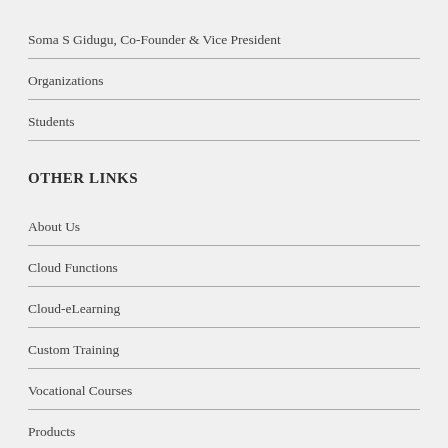Soma S Gidugu, Co-Founder & Vice President
Organizations
Students
OTHER LINKS
About Us
Cloud Functions
Cloud-eLearning
Custom Training
Vocational Courses
Products